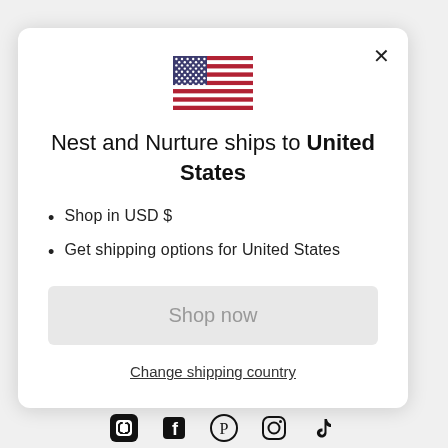[Figure (illustration): US flag emoji/icon centered above the title]
Nest and Nurture ships to United States
Shop in USD $
Get shipping options for United States
Shop now
Change shipping country
[Figure (illustration): Social media icons: Facebook, Pinterest, Instagram, TikTok]